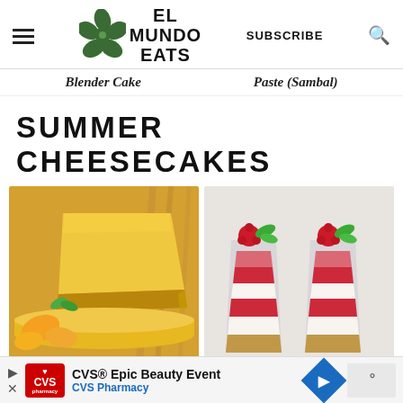El Mundo Eats | SUBSCRIBE
Blender Cake    Paste (Sambal)
SUMMER CHEESECAKES
[Figure (photo): A slice of mango cheesecake with fresh mango pieces and mint garnish on a yellow mango cheesecake base]
[Figure (photo): Two glass cups of layered raspberry cheesecake dessert with graham cracker crust, cream cheese, and raspberry sauce, topped with raspberries and mint]
CVS® Epic Beauty Event
CVS Pharmacy